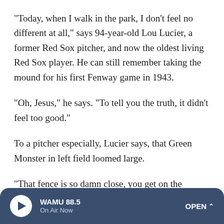"Today, when I walk in the park, I don't feel no different at all," says 94-year-old Lou Lucier, a former Red Sox pitcher, and now the oldest living Red Sox player. He can still remember taking the mound for his first Fenway game in 1943.
"Oh, Jesus," he says. "To tell you the truth, it didn't feel too good."
To a pitcher especially, Lucier says, that Green Monster in left field loomed large.
"That fence is so damn close, you get on the mound, you turn around, and seems like it's at second base," he says.
WAMU 88.5 | On Air Now | OPEN